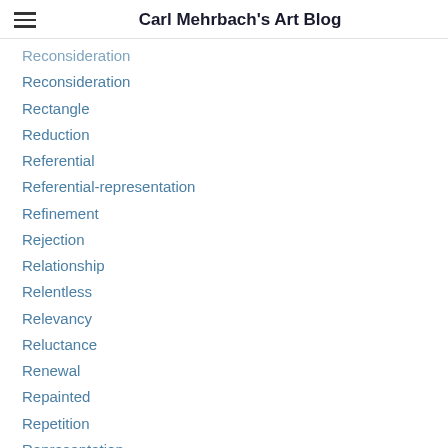Carl Mehrbach's Art Blog
Reconsideration
Rectangle
Reduction
Referential
Referential-representation
Refinement
Rejection
Relationship
Relentless
Relevancy
Reluctance
Renewal
Repainted
Repetition
Representation
Representational-mythology
Representative
Reproduction